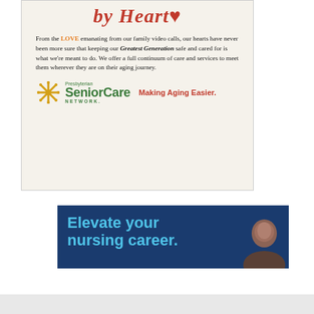[Figure (illustration): Presbyterian SeniorCare Network advertisement with cursive 'by Heart' heading in red, body text about love and caring for Greatest Generation, and green logo with 'Making Aging Easier' tagline in red]
[Figure (illustration): Blue banner advertisement with cyan text 'Elevate your nursing career.' and a person's photo on the right side]
infolinks
x